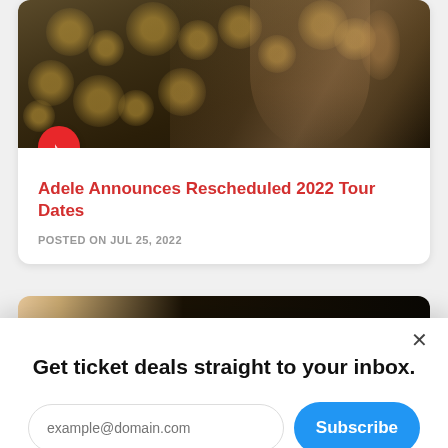[Figure (photo): Photo of a smiling woman with gold earrings against a dark bokeh background]
Adele Announces Rescheduled 2022 Tour Dates
POSTED ON JUL 25, 2022
[Figure (photo): Partial view of a second article image, cropped at bottom of visible area]
Get ticket deals straight to your inbox.
example@domain.com
Subscribe